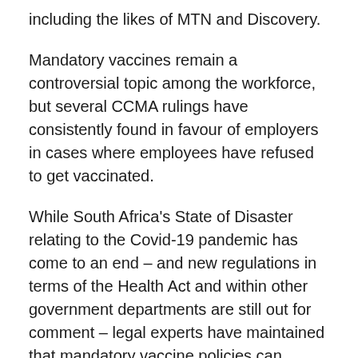including the likes of MTN and Discovery.
Mandatory vaccines remain a controversial topic among the workforce, but several CCMA rulings have consistently found in favour of employers in cases where employees have refused to get vaccinated.
While South Africa's State of Disaster relating to the Covid-19 pandemic has come to an end – and new regulations in terms of the Health Act and within other government departments are still out for comment – legal experts have maintained that mandatory vaccine policies can legally remain in place.
According to legal firm Bowmans, the primary basis for the implementation of vaccination